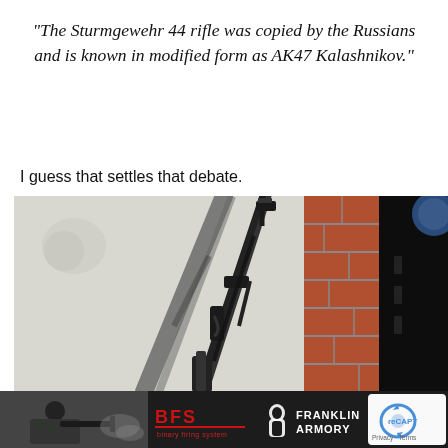“The Sturmgewehr 44 rifle was copied by the Russians and is known in modified form as AK47 Kalashnikov.”
I guess that settles that debate.
[Figure (photo): Photo of a rifle leaning against a white wall with its shadow cast on the wall; right portion shows brick wall and dark area]
[Figure (photo): Bottom advertisement strip showing a soldier firing a rifle, BFS logo, Franklin Armory logo, and a reCAPTCHA widget]